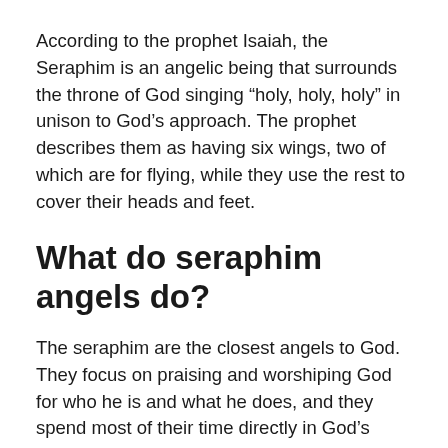According to the prophet Isaiah, the Seraphim is an angelic being that surrounds the throne of God singing “holy, holy, holy” in unison to God’s approach. The prophet describes them as having six wings, two of which are for flying, while they use the rest to cover their heads and feet.
What do seraphim angels do?
The seraphim are the closest angels to God. They focus on praising and worshiping God for who he is and what he does, and they spend most of their time directly in God’s presence in heaven.